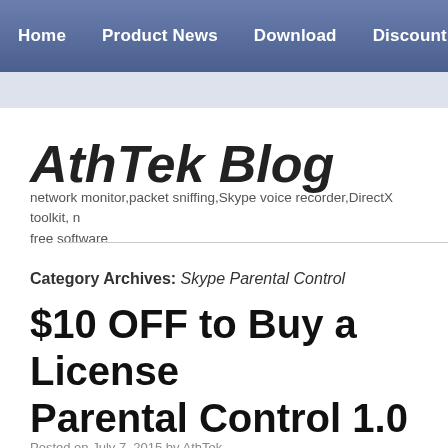Home | Product News | Download | Discount | Sol
AthTek Blog
network monitor,packet sniffing,Skype voice recorder,DirectX toolkit, free software
Category Archives: Skype Parental Control
$10 OFF to Buy a License Parental Control 1.0
Posted on July 7, 2015 by AthTek